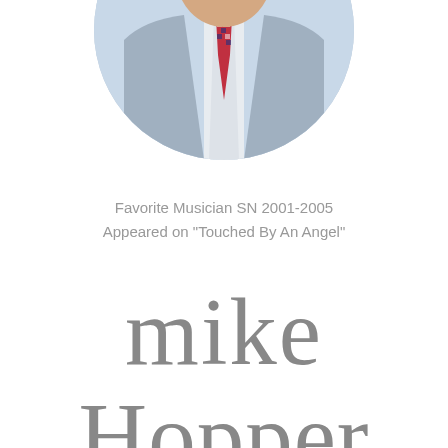[Figure (photo): Circular cropped portrait photo of a man in a light blue suit with a red and blue checkered tie, showing from approximately mid-chest up]
Favorite Musician SN 2001-2005
Appeared on "Touched By An Angel"
Mike Hopper